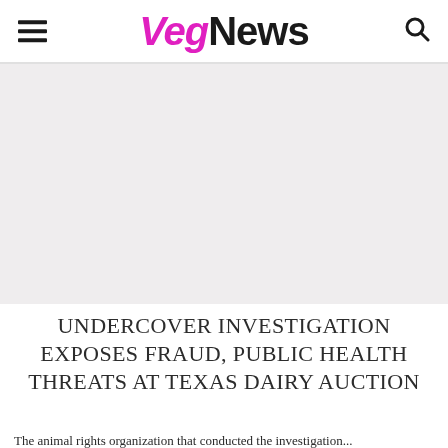VegNews
[Figure (photo): Gray placeholder image area for article photo]
UNDERCOVER INVESTIGATION EXPOSES FRAUD, PUBLIC HEALTH THREATS AT TEXAS DAIRY AUCTION
The article continues below this line...